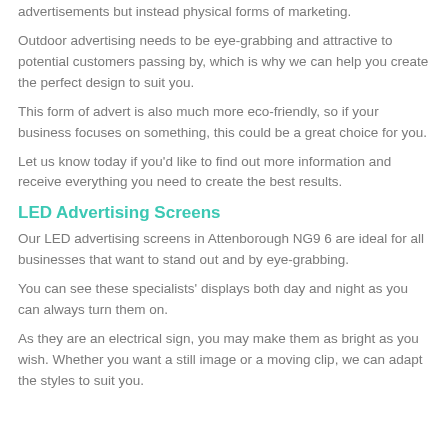advertisements but instead physical forms of marketing.
Outdoor advertising needs to be eye-grabbing and attractive to potential customers passing by, which is why we can help you create the perfect design to suit you.
This form of advert is also much more eco-friendly, so if your business focuses on something, this could be a great choice for you.
Let us know today if you'd like to find out more information and receive everything you need to create the best results.
LED Advertising Screens
Our LED advertising screens in Attenborough NG9 6 are ideal for all businesses that want to stand out and by eye-grabbing.
You can see these specialists' displays both day and night as you can always turn them on.
As they are an electrical sign, you may make them as bright as you wish. Whether you want a still image or a moving clip, we can adapt the styles to suit you.